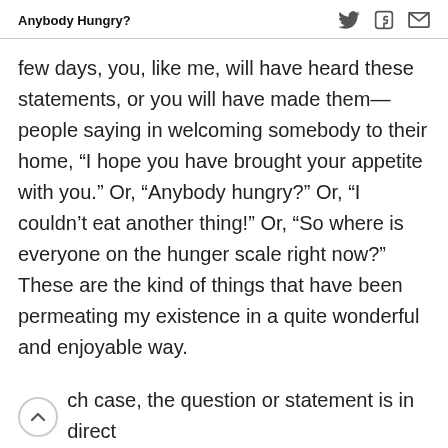Anybody Hungry?
few days, you, like me, will have heard these statements, or you will have made them—people saying in welcoming somebody to their home, “I hope you have brought your appetite with you.” Or, “Anybody hungry?” Or, “I couldn’t eat another thing!” Or, “So where is everyone on the hunger scale right now?” These are the kind of things that have been permeating my existence in a quite wonderful and enjoyable way.
I n each case, the question or statement is in direct relationship, of course, to physical hunger. And that